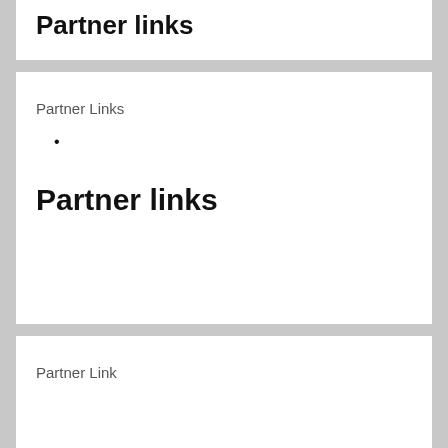Partner links
Partner Links
Partner links
Partner Link
ee41eeee5dde050e06490eeebcbee04cf506414e1